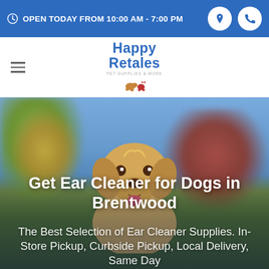OPEN TODAY FROM 10:00 AM - 7:00 PM
[Figure (logo): Happy Retales pet supplies and more logo with text and pet icons]
Get Ear Cleaner for Dogs in Brentwood
The Best Selection of Ear Cleaner Supplies. In-Store Pickup, Curbside Pickup, Local Delivery, Same Day